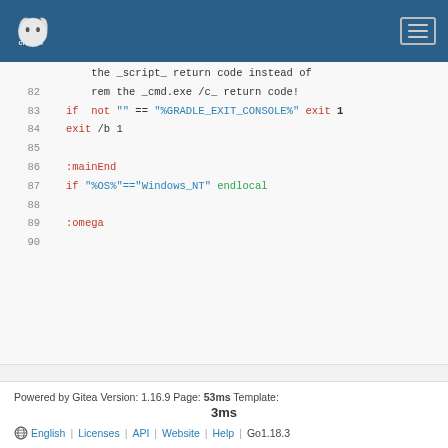chApril [logo] [menu]
[Figure (screenshot): Code viewer showing lines 81-90 of a batch script with syntax highlighting]
Powered by Gitea Version: 1.16.9 Page: 53ms Template: 3ms | English | Licenses | API | Website | Help | Go1.18.3